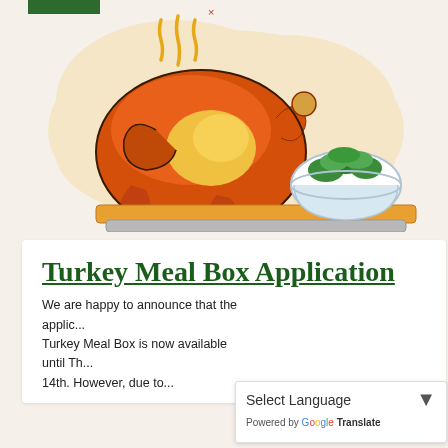[Figure (illustration): Illustration of a roasted turkey on a serving tray with a bowl of green salad beside it, set against a warm beige cloud-shaped background, with decorative red small circles and x marks around the image.]
Turkey Meal Box Application
We are happy to announce that the applic... Turkey Meal Box is now available until Th... 14th. However, due to...